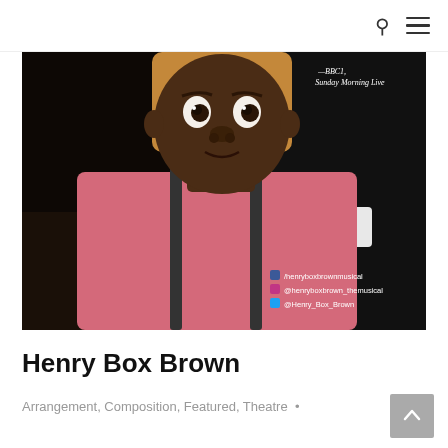navigation header with search and menu icons
[Figure (photo): A young Black boy in a pink shirt with dark suspenders looks upward with a startled expression. An adult hand rests on his shoulder from behind. The background is dark. Overlaid text includes '—BBC1, Sunday Morning Live' and social media handles: /henryboxbrownmusical, @henryboxbrown_themusical, @Henry_Box_Brown]
Henry Box Brown
Arrangement, Composition, Featured, Theatre •